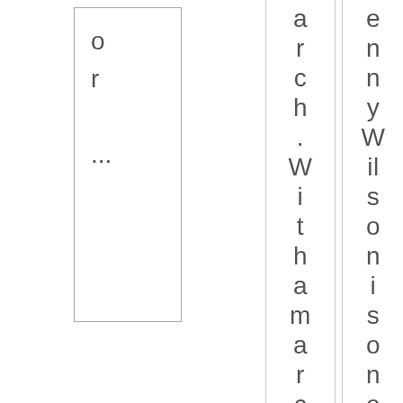or

...
arch.Withamarching
ennyWilsonisoneof